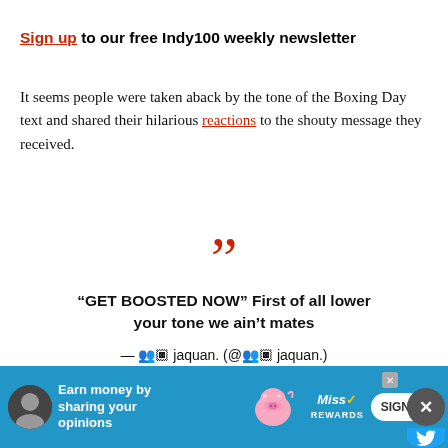Sign up to our free Indy100 weekly newsletter
It seems people were taken aback by the tone of the Boxing Day text and shared their hilarious reactions to the shouty message they received.
“GET BOOSTED NOW” First of all lower your tone we ain’t mates
— 👥🏿 jaquan. (@👥🏿 jaquan.) 1640544823
[Figure (screenshot): Advertisement banner: Earn money by sharing your opinions - MissRewards SIGN UP]